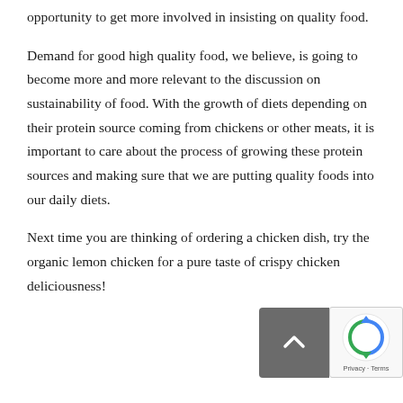opportunity to get more involved in insisting on quality food.
Demand for good high quality food, we believe, is going to become more and more relevant to the discussion on sustainability of food. With the growth of diets depending on their protein source coming from chickens or other meats, it is important to care about the process of growing these protein sources and making sure that we are putting quality foods into our daily diets.
Next time you are thinking of ordering a chicken dish, try the organic lemon chicken for a pure taste of crispy chicken deliciousness!